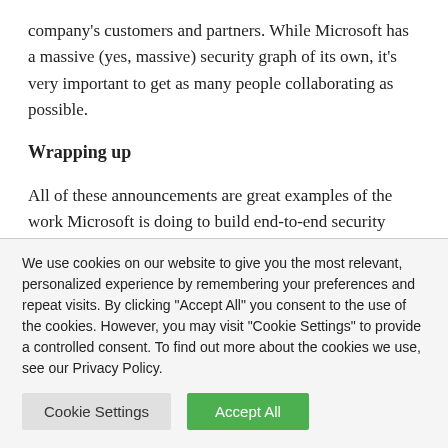company's customers and partners. While Microsoft has a massive (yes, massive) security graph of its own, it's very important to get as many people collaborating as possible.
Wrapping up
All of these announcements are great examples of the work Microsoft is doing to build end-to-end security capabilities and become a true one-stop-shop for the secure enterprise.
We use cookies on our website to give you the most relevant, personalized experience by remembering your preferences and repeat visits. By clicking "Accept All" you consent to the use of the cookies. However, you may visit "Cookie Settings" to provide a controlled consent. To find out more about the cookies we use, see our Privacy Policy.